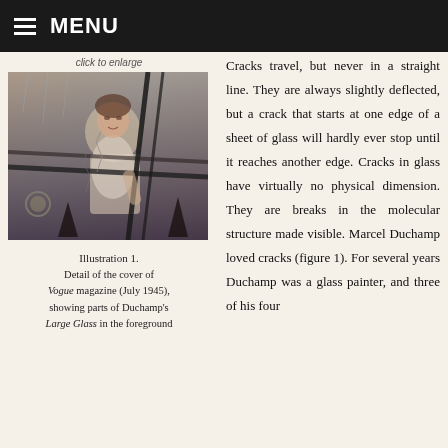MENU
click to enlarge
[Figure (photo): A woman in a dress standing behind cracked glass or framework, from the cover of Vogue magazine July 1945, showing parts of Duchamp's Large Glass in the foreground]
Illustration 1.
Detail of the cover of Vogue magazine (July 1945), showing parts of Duchamp's Large Glass in the foreground
Cracks travel, but never in a straight line. They are always slightly deflected, but a crack that starts at one edge of a sheet of glass will hardly ever stop until it reaches another edge. Cracks in glass have virtually no physical dimension. They are breaks in the molecular structure made visible. Marcel Duchamp loved cracks (figure 1). For several years Duchamp was a glass painter, and three of his four